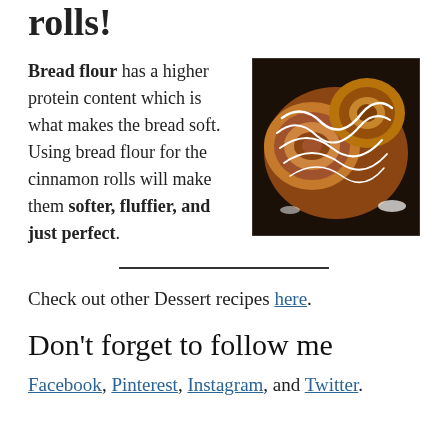rolls!
Bread flour has a higher protein content which is what makes the bread soft. Using bread flour for the cinnamon rolls will make them softer, fluffier, and just perfect.
[Figure (photo): Close-up photo of cinnamon rolls with white icing drizzled on top, on a dark background.]
Check out other Dessert recipes here.
Don't forget to follow me
Facebook, Pinterest, Instagram, and Twitter.